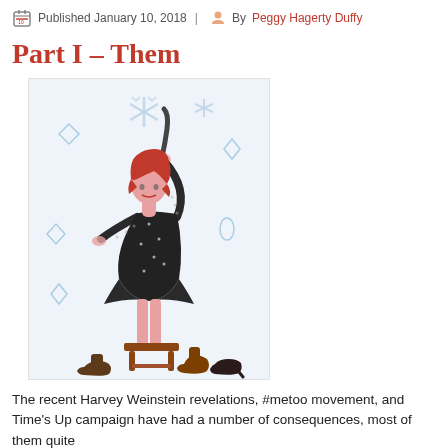Published January 10, 2018 | By Peggy Hagerty Duffy
Part I – Them
[Figure (illustration): A drawing of a woman with red hair wearing a black dress, standing on a wooden stool with one arm raised holding something above her head. Various shoes and boots are scattered on the ground around the stool. The background has a light blue wintry feel with snowflake-like shapes.]
The recent Harvey Weinstein revelations, #metoo movement, and Time's Up campaign have had a number of consequences, most of them quite